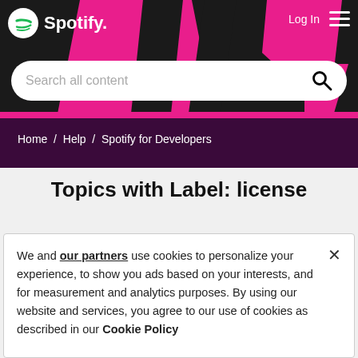[Figure (screenshot): Spotify website header with black background, pink geometric decorative shapes, Spotify logo top-left, Log In and hamburger menu top-right]
[Figure (other): Search bar with placeholder text 'Search all content' and magnifying glass icon]
Home / Help / Spotify for Developers
Topics with Label: license
We and our partners use cookies to personalize your experience, to show you ads based on your interests, and for measurement and analytics purposes. By using our website and services, you agree to our use of cookies as described in our Cookie Policy